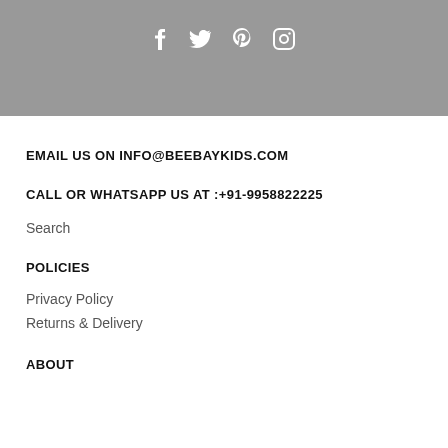[Figure (other): Gray banner with social media icons: Facebook, Twitter, Pinterest, Instagram]
EMAIL US ON INFO@BEEBAYKIDS.COM
CALL OR WHATSAPP US AT :+91-9958822225
Search
POLICIES
Privacy Policy
Returns & Delivery
ABOUT